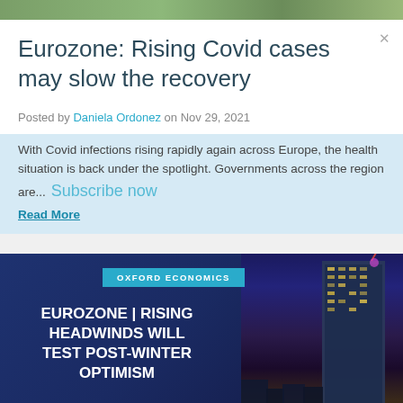[Figure (photo): Top strip showing a green outdoor/nature photo]
Eurozone: Rising Covid cases may slow the recovery
Posted by Daniela Ordonez on Nov 29, 2021
With Covid infections rising rapidly again across Europe, the health situation is back under the spotlight. Governments across the region are... Read More
[Figure (infographic): Oxford Economics report cover with city skyline (modern skyscraper at night) and title: EUROZONE | RISING HEADWINDS WILL TEST POST-WINTER OPTIMISM]